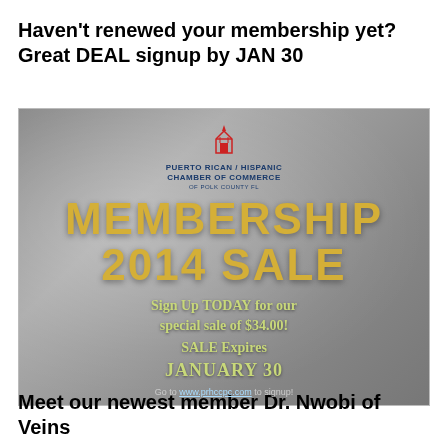Haven't renewed your membership yet? Great DEAL signup by JAN 30
[Figure (infographic): Puerto Rican/Hispanic Chamber of Commerce promotional banner for Membership 2014 Sale. Gray gradient background with logo at top, bold gold text reading MEMBERSHIP 2014 SALE, green italic text Sign Up TODAY for our special sale of $34.00!, SALE Expires JANUARY 30, and website link www.prhccpc.com]
Meet our newest member Dr. Nwobi of Veins